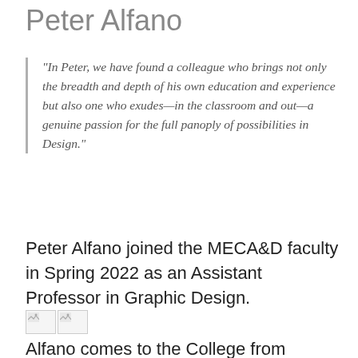Peter Alfano
"In Peter, we have found a colleague who brings not only the breadth and depth of his own education and experience but also one who exudes—in the classroom and out—a genuine passion for the full panoply of possibilities in Design."
Peter Alfano joined the MECA&D faculty in Spring 2022 as an Assistant Professor in Graphic Design.
[Figure (photo): Two broken image placeholders side by side]
Alfano comes to the College from Ringling